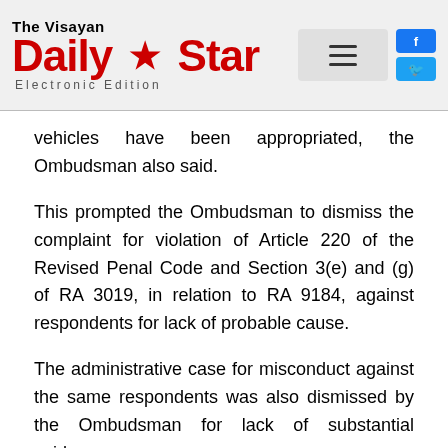The Visayan Daily Star Electronic Edition
vehicles have been appropriated, the Ombudsman also said.
This prompted the Ombudsman to dismiss the complaint for violation of Article 220 of the Revised Penal Code and Section 3(e) and (g) of RA 3019, in relation to RA 9184, against respondents for lack of probable cause.
The administrative case for misconduct against the same respondents was also dismissed by the Ombudsman for lack of substantial evidence.
Montoyo also charged Puentevella, Solinap, Torre, Hechanova, Cuaycong, Espina, Dullano, Sillo and Reynaldo Ehrea, for alleged violation, for anti-graft and